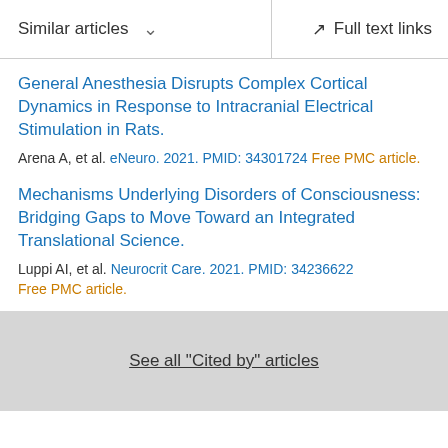Similar articles   Full text links
General Anesthesia Disrupts Complex Cortical Dynamics in Response to Intracranial Electrical Stimulation in Rats.
Arena A, et al. eNeuro. 2021. PMID: 34301724 Free PMC article.
Mechanisms Underlying Disorders of Consciousness: Bridging Gaps to Move Toward an Integrated Translational Science.
Luppi AI, et al. Neurocrit Care. 2021. PMID: 34236622 Free PMC article.
See all "Cited by" articles
Publication types